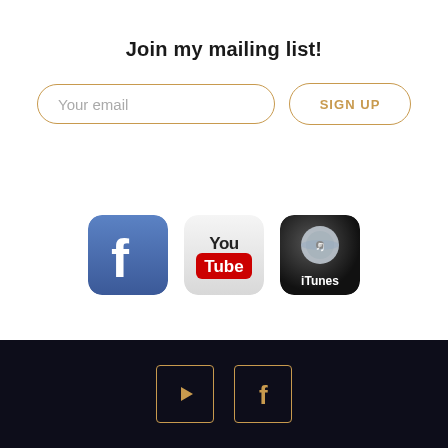Join my mailing list!
Your email
SIGN UP
[Figure (logo): Three social media icons: Facebook, YouTube, iTunes]
[Figure (logo): Footer social icons: YouTube play button and Facebook 'f' icon in golden outlined boxes on dark background]